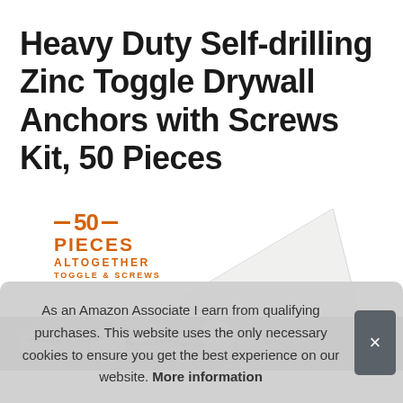Heavy Duty Self-drilling Zinc Toggle Drywall Anchors with Screws Kit, 50 Pieces
[Figure (photo): Product image of drywall anchor package showing a white triangular/wedge shaped product package with an orange badge overlay reading '50 PIECES ALTOGETHER TOGGLE & SCREWS'. Bottom of image shows close-up of metal anchors and screws.]
As an Amazon Associate I earn from qualifying purchases. This website uses the only necessary cookies to ensure you get the best experience on our website. More information